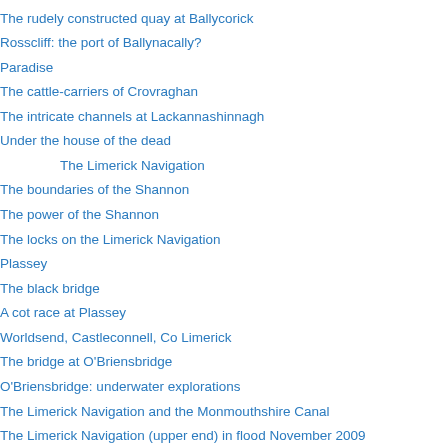The rudely constructed quay at Ballycorick
Rosscliff: the port of Ballynacally?
Paradise
The cattle-carriers of Crovraghan
The intricate channels at Lackannashinnagh
Under the house of the dead
The Limerick Navigation
The boundaries of the Shannon
The power of the Shannon
The locks on the Limerick Navigation
Plassey
The black bridge
A cot race at Plassey
Worldsend, Castleconnell, Co Limerick
The bridge at O'Briensbridge
O'Briensbridge: underwater explorations
The Limerick Navigation and the Monmouthshire Canal
The Limerick Navigation (upper end) in flood November 2009
The Limerick Navigation (lower end) in flood November 2009
The Limerick Navigation (tidal section) in flood November